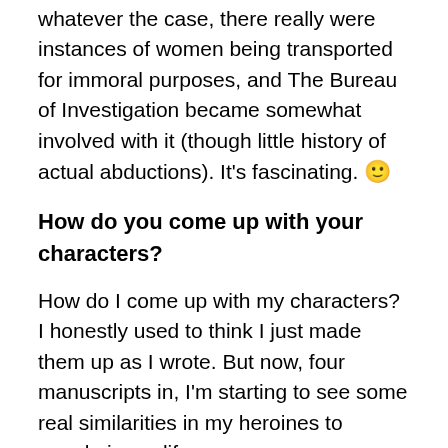Whatever the case, there really were instances of women being transported for immoral purposes, and The Bureau of Investigation became somewhat involved with it (though little history of actual abductions). It's fascinating. 🙂
How do you come up with your characters?
How do I come up with my characters? I honestly used to think I just made them up as I wrote. But now, four manuscripts in, I'm starting to see some real similarities in my heroines to people in my life.
For example, Gracie is the heroine in Love On The Range. Curious, emotional, and verbose, I thought she was a work of fiction.